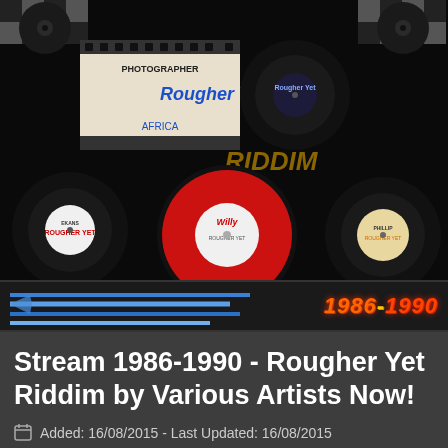[Figure (photo): Collage of vinyl records on a black checkerboard background featuring 'Rougher Yet Riddim' text and 'PHOTOGRAPHER' label. Multiple 7-inch singles visible including red and cream colored record labels.]
[Figure (illustration): Banner graphic with blue horizontal lines on left and '1986-1990' text in orange/red 3D style on the right, on dark background.]
Stream 1986-1990 - Rougher Yet Riddim by Various Artists Now!
Added: 16/08/2015 - Last Updated: 16/08/2015
[Figure (photo): Partial bottom strip showing colorful image, cropped.]